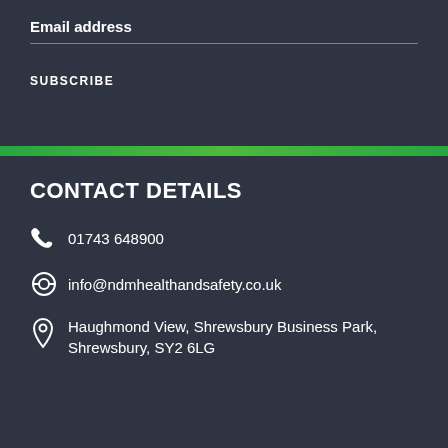Email address
SUBSCRIBE
CONTACT DETAILS
01743 648900
info@ndmhealthandsafety.co.uk
Haughmond View, Shrewsbury Business Park, Shrewsbury, SY2 6LG